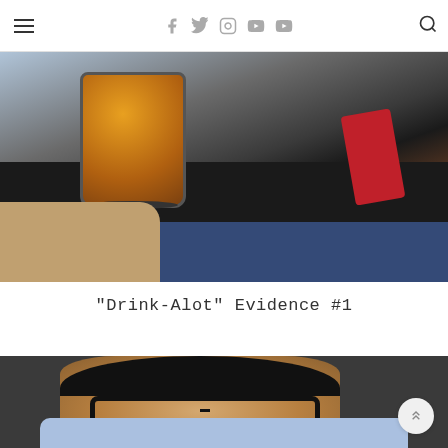Navigation header with hamburger menu, social icons (Facebook, Twitter, Instagram, YouTube, YouTube), and search icon
[Figure (photo): A photo showing a drink in a glass cup held by someone, with a red object (phone/wallet) visible, and blue jeans in background]
"Drink-Alot" Evidence #1
[Figure (photo): A selfie/photo of a young Asian man with spiky black hair, wearing black-rimmed glasses, in a light blue shirt, smiling, with another person partially visible]